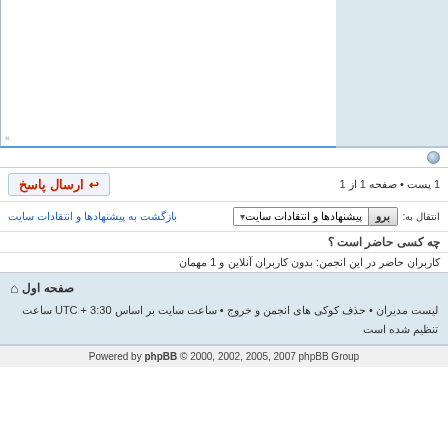[Figure (screenshot): Top area with two-panel layout: left panel light blue background, right panel white with blue border forming text input area]
1 پست • صفحه 1 از 1
ارسال پاسخ
بازگشت به پیشنهادها و انتقادات سایت
انتقال به:
پیشنهادها و انتقادات سایت
برو
چه کسی حاضر است ؟
کاربران حاضر در این انجمن: بدون کاربران آنلاین و 1 مهمان
صفحه اول
لیست مدیران • حذف کوکی های انجمن و خروج • ساعت سایت بر اساس UTC + 3:30 ساعت تنظیم شده است
Powered by phpBB © 2000, 2002, 2005, 2007 phpBB Group